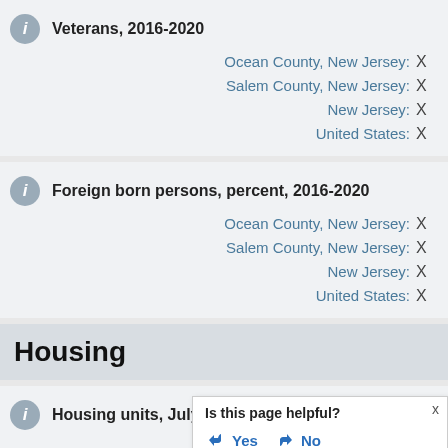Veterans, 2016-2020
Ocean County, New Jersey: X
Salem County, New Jersey: X
New Jersey: X
United States: X
Foreign born persons, percent, 2016-2020
Ocean County, New Jersey: X
Salem County, New Jersey: X
New Jersey: X
United States: X
Housing
Housing units, July 1, 2021, (V...
Is this page helpful? Yes No